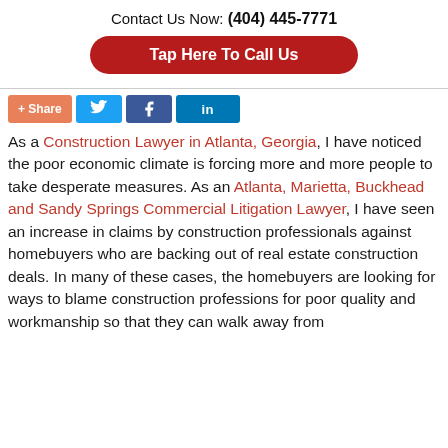Contact Us Now: (404) 445-7771
Tap Here To Call Us
[Figure (other): Social share buttons: +Share, Twitter, Facebook, LinkedIn]
As a Construction Lawyer in Atlanta, Georgia, I have noticed the poor economic climate is forcing more and more people to take desperate measures. As an Atlanta, Marietta, Buckhead and Sandy Springs Commercial Litigation Lawyer, I have seen an increase in claims by construction professionals against homebuyers who are backing out of real estate construction deals. In many of these cases, the homebuyers are looking for ways to blame construction professions for poor quality and workmanship so that they can walk away from